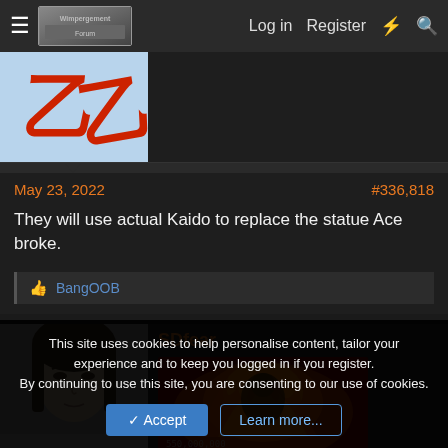Log in   Register
[Figure (screenshot): Forum post avatar with red kanji characters on light blue background]
May 23, 2022    #336,818
They will use actual Kaido to replace the statue Ace broke.
BangOOB
[Figure (photo): Avatar photo of a woman with dark hair]
SDfear
[Figure (illustration): Anime/manga character illustration with fire effects]
This site uses cookies to help personalise content, tailor your experience and to keep you logged in if you register.
By continuing to use this site, you are consenting to our use of cookies.
Accept   Learn more...